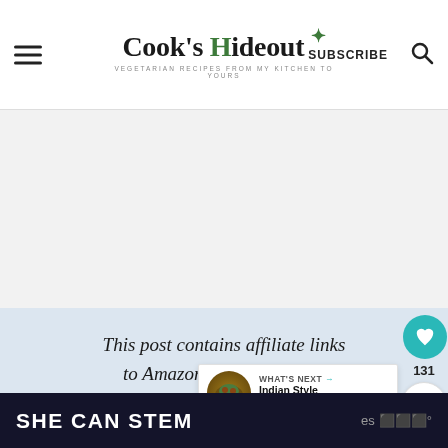Cook's Hideout — VEGETARIAN RECIPES FROM MY KITCHEN TO YOURS | SUBSCRIBE
[Figure (screenshot): Light grey advertisement placeholder area]
This post contains affiliate links to Amazon and other sites. earn a commission from qualifying purchases through
131
[Figure (infographic): What's Next callout: Indian Style Vegan Tartle...]
SHE CAN STEM